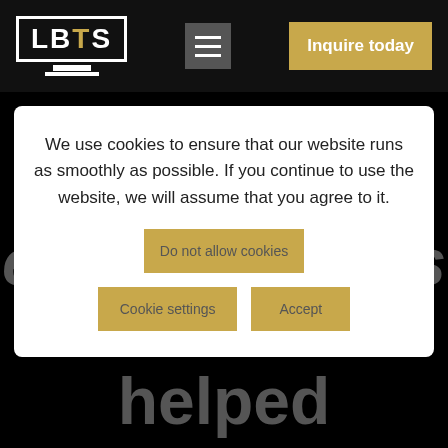[Figure (logo): LBTS logo on a monitor screen icon with white border]
Inquire today
We use cookies to ensure that our website runs as smoothly as possible. If you continue to use the website, we will assume that you agree to it.
Do not allow cookies
Cookie settings
Accept
entrepreneurs we have helped